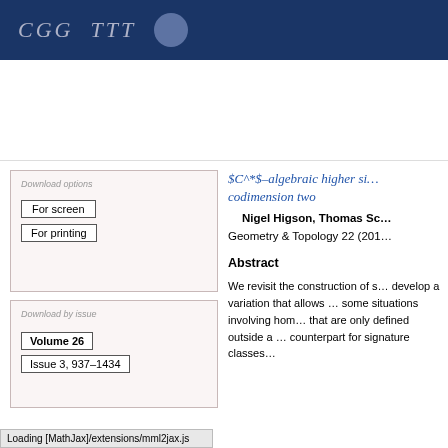CGG TTT (journal header banner)
[Figure (other): Journal website navigation panel with 'For screen' and 'For printing' buttons]
$C^*$–algebraic higher signatures and codimension two
Nigel Higson, Thomas Sc…
Geometry & Topology 22 (201…
Abstract
We revisit the construction of s… develop a variation that allows … some situations involving hom… that are only defined outside a … counterpart for signature classes
[Figure (other): Download panel with Volume 26 and Issue 3, 937-1434 buttons]
Loading [MathJax]/extensions/mml2jax.js